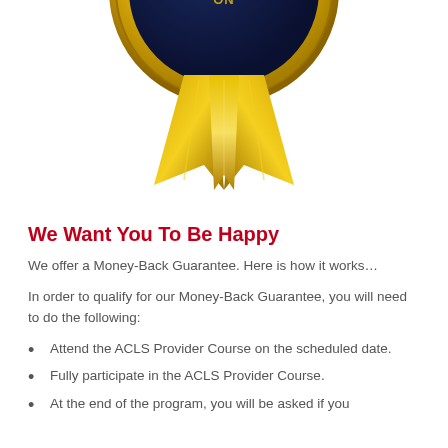[Figure (illustration): Satisfaction guarantee badge/seal — gold starburst/ribbon shape with dark navy blue circular center showing partial text 'ISFACTI' (part of SATISFACTION), gold ribbon tails below]
We Want You To Be Happy
We offer a Money-Back Guarantee. Here is how it works…
In order to qualify for our Money-Back Guarantee, you will need to do the following:
Attend the ACLS Provider Course on the scheduled date.
Fully participate in the ACLS Provider Course.
At the end of the program, you will be asked if you